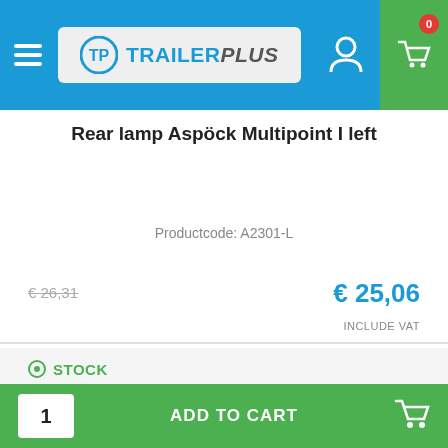TrailerPlus
Rear lamp Aspöck Multipoint I left
Productcode: A2301-L
€ 26,31 (old price, strikethrough)
€ 25,06
INCLUDE VAT
STOCK
DELIVERY TIME 1 - 4 BUSINESS DAYS
1  ADD TO CART